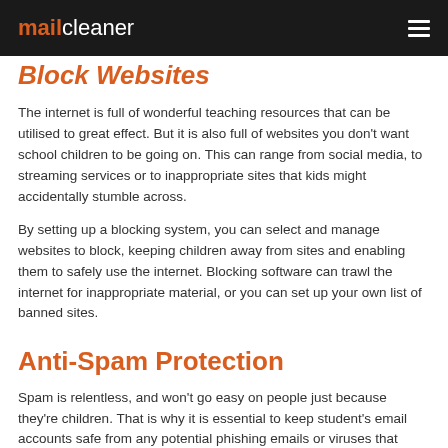mailcleaner
Block Websites
The internet is full of wonderful teaching resources that can be utilised to great effect. But it is also full of websites you don't want school children to be going on. This can range from social media, to streaming services or to inappropriate sites that kids might accidentally stumble across.
By setting up a blocking system, you can select and manage websites to block, keeping children away from sites and enabling them to safely use the internet. Blocking software can trawl the internet for inappropriate material, or you can set up your own list of banned sites.
Anti-Spam Protection
Spam is relentless, and won't go easy on people just because they're children. That is why it is essential to keep student's email accounts safe from any potential phishing emails or viruses that could be sent to them. A child or teenager is less likely to know about the dangers and consequences of interacting with spam, so may not be as wary of opening links or replying to emails that they receive.